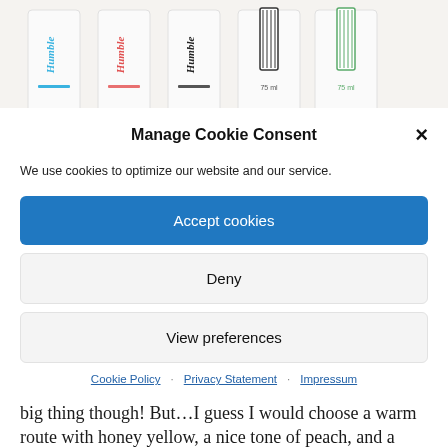[Figure (photo): Partial product photo strip showing Humble brand toothbrushes/products in various colors and styles against a light background]
Manage Cookie Consent
We use cookies to optimize our website and our service.
Accept cookies
Deny
View preferences
Cookie Policy · Privacy Statement · Impressum
To limit a color lover to only three colors is already a big thing though! But…I guess I would choose a warm route with honey yellow, a nice tone of peach, and a radiant red